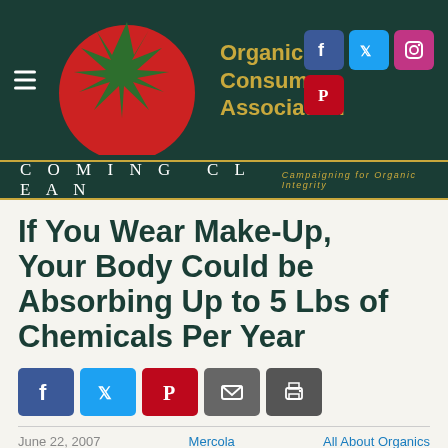[Figure (logo): Organic Consumers Association logo with tomato graphic and social media icons (Facebook, Twitter, Instagram, Pinterest) on dark green background]
COMING CLEAN  Campaigning for Organic Integrity
If You Wear Make-Up, Your Body Could be Absorbing Up to 5 Lbs of Chemicals Per Year
[Figure (infographic): Social share buttons: Facebook, Twitter, Pinterest, Email, Print]
June 22, 2007    Mercola    All About Organics